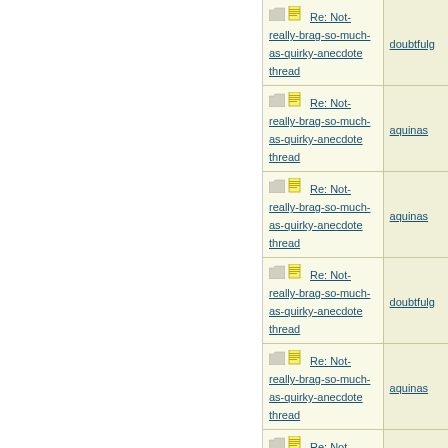| Subject | Author |
| --- | --- |
| Re: Not-really-brag-so-much-as-quirky-anecdote thread | doubtfulg |
| Re: Not-really-brag-so-much-as-quirky-anecdote thread | aquinas |
| Re: Not-really-brag-so-much-as-quirky-anecdote thread | aquinas |
| Re: Not-really-brag-so-much-as-quirky-anecdote thread | doubtfulg |
| Re: Not-really-brag-so-much-as-quirky-anecdote thread | aquinas |
| Re: Not-really-brag-so-much-as-quirky-anecdote thread | aquinas |
| Re: Not-really-brag-so-much-as-quirky-anecdote thread | ... |